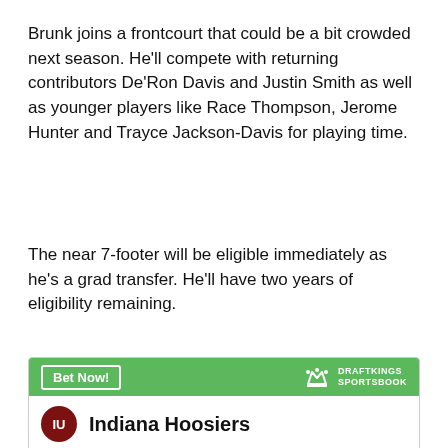Brunk joins a frontcourt that could be a bit crowded next season. He'll compete with returning contributors De'Ron Davis and Justin Smith as well as younger players like Race Thompson, Jerome Hunter and Trayce Jackson-Davis for playing time.
The near 7-footer will be eligible immediately as he's a grad transfer. He'll have two years of eligibility remaining.
[Figure (other): DraftKings Sportsbook widget showing Indiana Hoosiers odds to win National Championship at +80000]